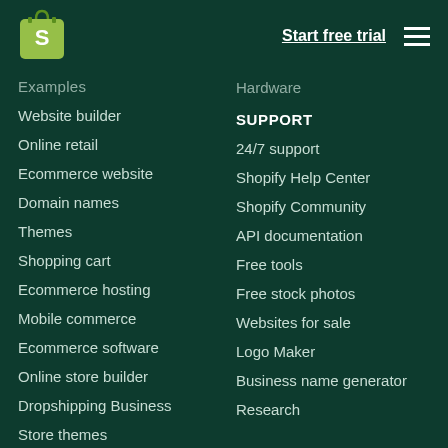[Figure (logo): Shopify logo - shopping bag with S letter]
Start free trial
Examples
Website builder
Online retail
Ecommerce website
Domain names
Themes
Shopping cart
Ecommerce hosting
Mobile commerce
Ecommerce software
Online store builder
Dropshipping Business
Store themes
Hardware
SUPPORT
24/7 support
Shopify Help Center
Shopify Community
API documentation
Free tools
Free stock photos
Websites for sale
Logo Maker
Business name generator
Research